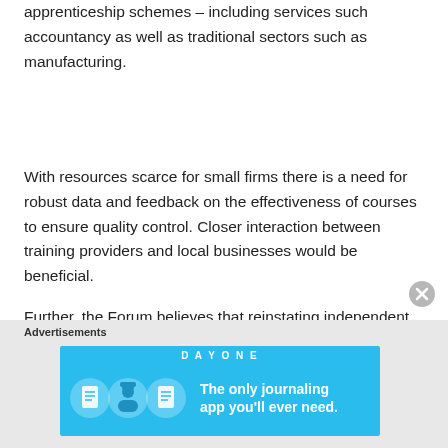apprenticeship schemes – including services such accountancy as well as traditional sectors such as manufacturing.
With resources scarce for small firms there is a need for robust data and feedback on the effectiveness of courses to ensure quality control. Closer interaction between training providers and local businesses would be beneficial.
Further, the Forum believes that reinstating independent careers advice in schools and colleges would develop greater understanding of the value of apprenticeships within the education system.
[Figure (other): Advertisement banner: DayOne journaling app. Blue background with icons and text 'The only journaling app you'll ever need.']